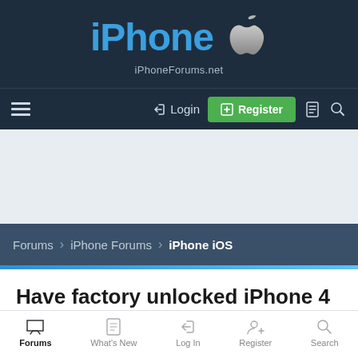iPhone iPhoneForums.net
Login | Register
[Figure (screenshot): Advertisement / banner area]
Forums > iPhone Forums > iPhone iOS
Have factory unlocked iPhone 4 - should I upgrade to 4.2 os?
ivone · Nov 30, 2010
Forums | What's New | Log In | Register | Search